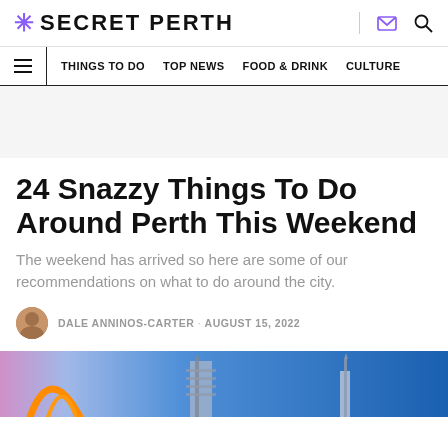SECRET PERTH
THINGS TO DO   TOP NEWS   FOOD & DRINK   CULTURE
24 Snazzy Things To Do Around Perth This Weekend
The weekend has arrived so here are some of our recommendations on what to do around the city.
DALE ANNINOS-CARTER · AUGUST 15, 2022
[Figure (photo): Hero image showing Perth skyline/architecture with blue sky, orange arch structure and building scaffolding]